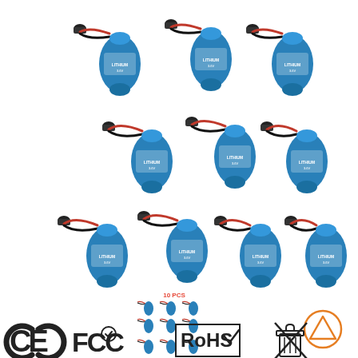[Figure (photo): Product photo showing 10 blue cylindrical lithium batteries with red and black wire connectors (JST plugs). Top section shows 6 batteries arranged in two rows of 3. Middle section shows 4 batteries in a row. Bottom-left shows a small thumbnail image of all 10 batteries arranged in 3 rows labeled '10 PCS'. Bottom-right shows a caution triangle symbol (orange/red). Bottom row shows CE, FCC, RoHS certification logos and a crossed-out trash bin (WEEE) symbol.]